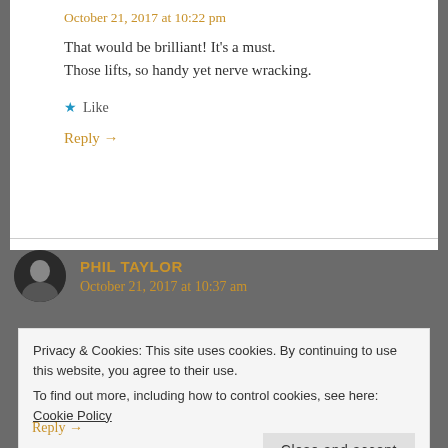October 21, 2017 at 10:22 pm
That would be brilliant! It's a must.
Those lifts, so handy yet nerve wracking.
★ Like
Reply →
PHIL TAYLOR
October 21, 2017 at 10:37 am
Privacy & Cookies: This site uses cookies. By continuing to use this website, you agree to their use.
To find out more, including how to control cookies, see here: Cookie Policy
Close and accept
Reply →